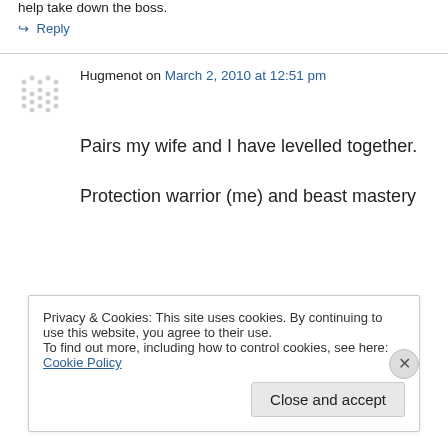help take down the boss.
↪ Reply
Hugmenot on March 2, 2010 at 12:51 pm
Pairs my wife and I have levelled together.
Protection warrior (me) and beast mastery
Privacy & Cookies: This site uses cookies. By continuing to use this website, you agree to their use.
To find out more, including how to control cookies, see here: Cookie Policy
Close and accept